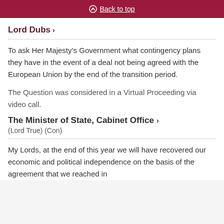Back to top
Lord Dubs
To ask Her Majesty’s Government what contingency plans they have in the event of a deal not being agreed with the European Union by the end of the transition period.
The Question was considered in a Virtual Proceeding via video call.
The Minister of State, Cabinet Office (Lord True) (Con)
My Lords, at the end of this year we will have recovered our economic and political independence on the basis of the agreement that we reached in